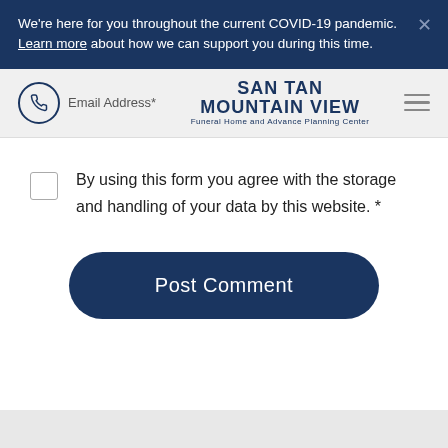We're here for you throughout the current COVID-19 pandemic. Learn more about how we can support you during this time.
[Figure (logo): San Tan Mountain View Funeral Home and Advance Planning Center logo with phone icon and email address field]
By using this form you agree with the storage and handling of your data by this website. *
Post Comment